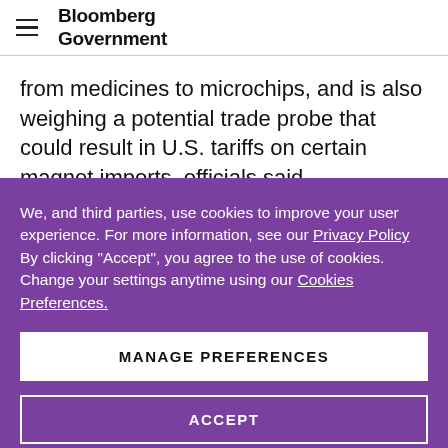Bloomberg Government
from medicines to microchips, and is also weighing a potential trade probe that could result in U.S. tariffs on certain magnet imports, officials said.
We, and third parties, use cookies to improve your user experience. For more information, see our Privacy Policy By clicking "Accept", you agree to the use of cookies. Change your settings anytime using our Cookies Preferences.
MANAGE PREFERENCES
ACCEPT